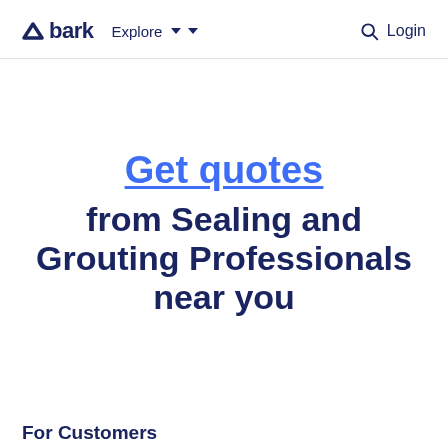bark  Explore  Login
Get quotes
from Sealing and Grouting Professionals near you
For Customers